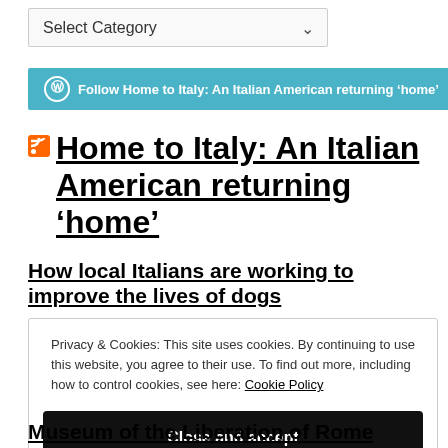[Figure (other): Dropdown selector with label 'Select Category' and a chevron arrow]
Follow Home to Italy: An Italian American returning 'home'
Home to Italy: An Italian American returning ‘home’
How local Italians are working to improve the lives of dogs
Privacy & Cookies: This site uses cookies. By continuing to use this website, you agree to their use. To find out more, including how to control cookies, see here: Cookie Policy
Close and accept
Museum of the Liberation of Rome